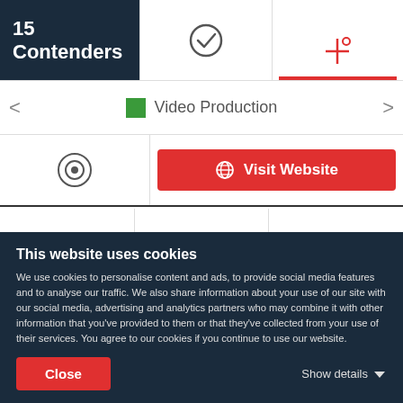15 Contenders
[Figure (screenshot): Navigation row with green square and 'Video Production' label, with left and right arrows]
[Figure (screenshot): Action row with circle target icon on left and red 'Visit Website' button with globe icon on right]
[Figure (screenshot): Media Core company card with MC logo, company name 'Media Core', tagline 'Video With A Purpose', and bookmark icon]
This website uses cookies
We use cookies to personalise content and ads, to provide social media features and to analyse our traffic. We also share information about your use of our site with our social media, advertising and analytics partners who may combine it with other information that you've provided to them or that they've collected from your use of their services. You agree to our cookies if you continue to use our website.
Close
Show details